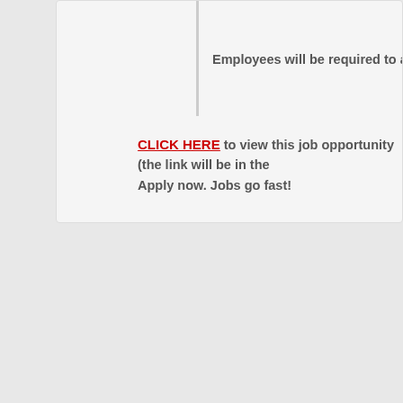Employees will be required to attend training in Raleigh, N
CLICK HERE to view this job opportunity (the link will be in the Apply now. Jobs go fast!
Tags: Bilingual, Cantonese, chinese, Data Collection Interview, remote jobs, telecommute, telecommuting, work at home, wor... work from home, work from home jobs
Permalink